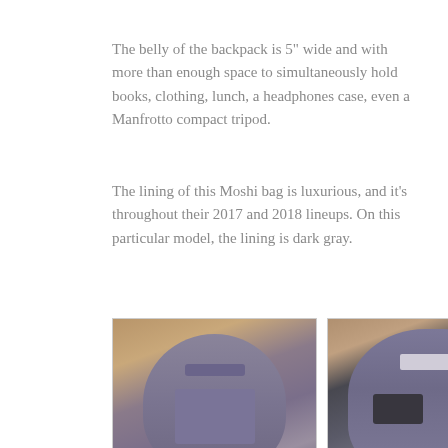The belly of the backpack is 5" wide and with more than enough space to simultaneously hold books, clothing, lunch, a headphones case, even a Manfrotto compact tripod.
The lining of this Moshi bag is luxurious, and it's throughout their 2017 and 2018 lineups. On this particular model, the lining is dark gray.
[Figure (photo): Photo of the inside of the backpack showing the laptop/tablet sleeve compartment with dark gray lining and pockets]
Laptop/Tablet Sleeve Compartment
[Figure (photo): Photo of the inside of the backpack showing the pocket/sleeve compartment with charger, dark gray lining, label tag, and device pocket]
Pocket/Sleeve Compartment w/Charger